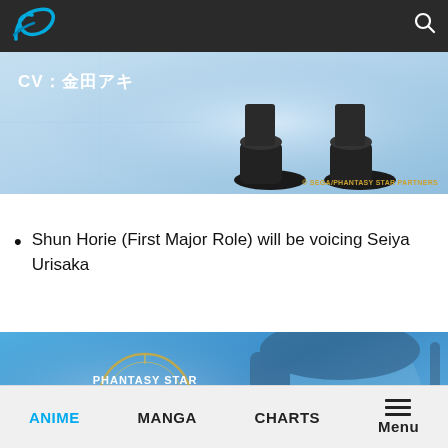Navigation bar with logo and search icon
[Figure (screenshot): Partial screenshot of an anime character's feet/shoes on a blue gradient background with Japanese text 'CV：金田アキ' and copyright text '© SEGA/PHANTASY STAR PARTNERS' in gold]
Shun Horie (First Major Role) will be voicing Seiya Urisaka
[Figure (screenshot): Phantasy Star Online 2 The Animation promotional banner showing the game/anime logo on the left and an anime character with dark short hair in the center, with a close-up face in the background, all on a blue gradient background]
ANIME  MANGA  CHARTS  Menu